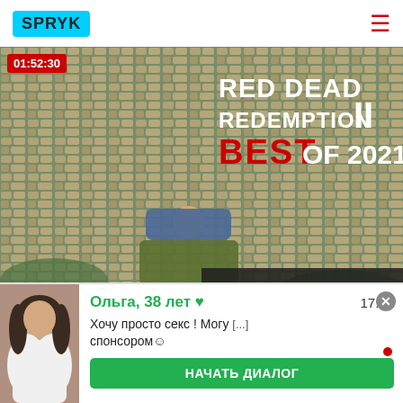SPRYK  ☰
[Figure (screenshot): Video thumbnail for Red Dead Redemption 2 Best of 2021 with timestamp 01:52:30, showing aerial view of player character lying on money/rocks, with Red Dead Redemption II Best of 2021 logo overlay, and Ads by Clickadilla banner]
TOP 1000 FUNNIEST MOMENTS in Red Dead Redemption 2 (Best of 2021)
[Figure (screenshot): Chat popup ad showing: badge 3, avatar of woman, name Ольга, 38 лет with heart, time 17:02, message Хочу просто секс ! Могу спонсором☺, and green НАЧАТЬ ДИАЛОГ button, with close X button]